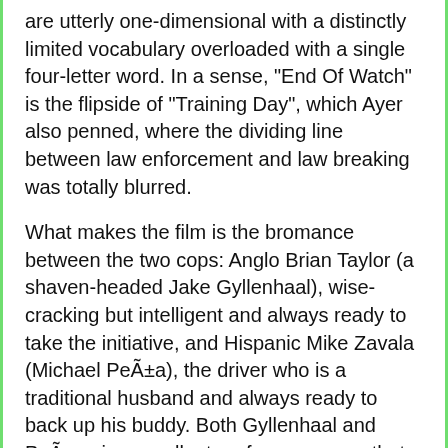are utterly one-dimensional with a distinctly limited vocabulary overloaded with a single four-letter word. In a sense, "End Of Watch" is the flipside of "Training Day", which Ayer also penned, where the dividing line between law enforcement and law breaking was totally blurred.
What makes the film is the bromance between the two cops: Anglo Brian Taylor (a shaven-headed Jake Gyllenhaal), wise-cracking but intelligent and always ready to take the initiative, and Hispanic Mike Zavala (Michael Peña), the driver who is a traditional husband and always ready to back up his buddy. Both Gyllenhaal and Peña give excellent performances so that you really care about what's going to happen to them and, as the tension builds, you know it ain't going to be good.